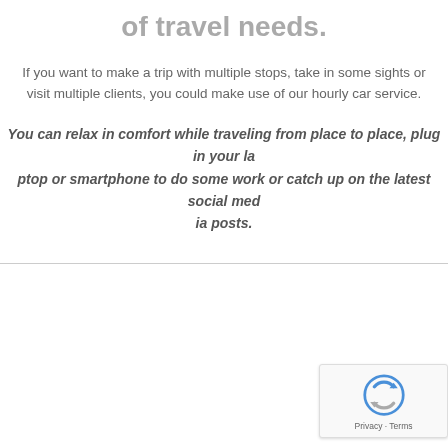of travel needs.
If you want to make a trip with multiple stops, take in some sights or visit multiple clients, you could make use of our hourly car service.
You can relax in comfort while traveling from place to place, plug in your laptop or smartphone to do some work or catch up on the latest social media posts.
[Figure (logo): reCAPTCHA badge with spinning arrows logo and Privacy - Terms links]